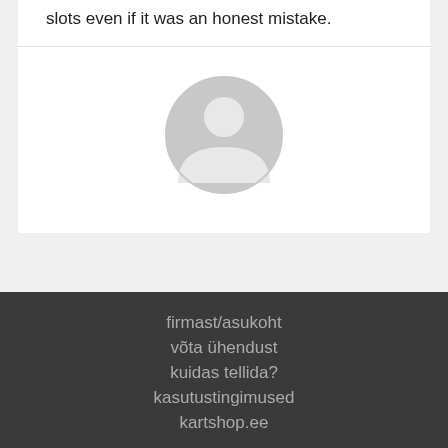slots even if it was an honest mistake.
[Figure (illustration): Gray default user avatar icon — circular shape with a person silhouette]
firmast/asukoht
võta ühendust
kuidas tellida?
kasutustingimused
kartshop.ee